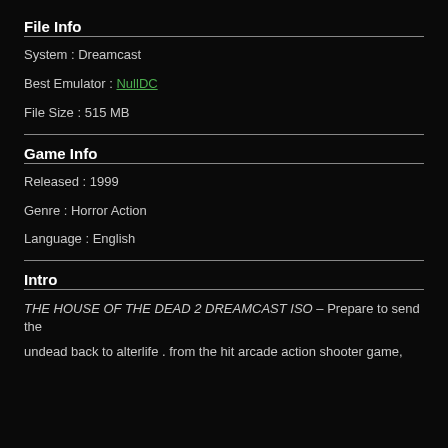File Info
System : Dreamcast
Best Emulator : NullDC
File Size : 515 MB
Game Info
Released : 1999
Genre : Horror Action
Language : English
Intro
THE HOUSE OF THE DEAD 2 DREAMCAST ISO – Prepare to send the undead back to alterlife . from the hit arcade action shooter game,